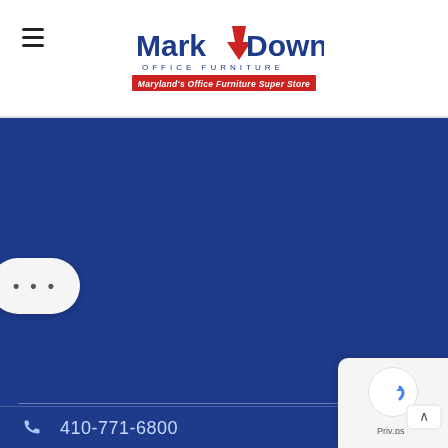[Figure (logo): Mark Downs Office Furniture logo — 'Mark' in blue bold with red downward arrow, 'Downs' in blue bold, subtitle 'OFFICE FURNITURE' in spaced blue caps, tagline 'Maryland's Office Furniture Super Store' in white italic on red bar]
[Figure (screenshot): Blue hero/banner area of a website, mostly empty dark blue background]
• • •
410-771-6800